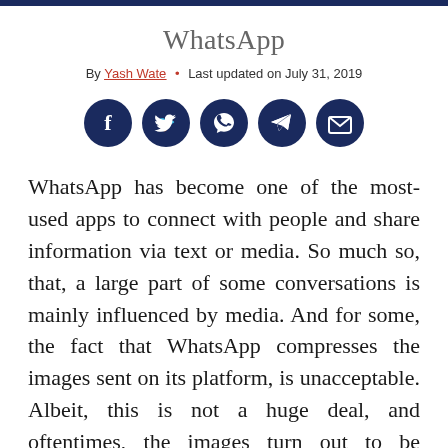WhatsApp
By Yash Wate • Last updated on July 31, 2019
[Figure (illustration): Row of five dark navy circular social share buttons: Facebook, Twitter, WhatsApp, Telegram, Email]
WhatsApp has become one of the most-used apps to connect with people and share information via text or media. So much so, that, a large part of some conversations is mainly influenced by media. And for some, the fact that WhatsApp compresses the images sent on its platform, is unacceptable. Albeit, this is not a huge deal, and oftentimes, the images turn out to be acceptable. The lack of details in some